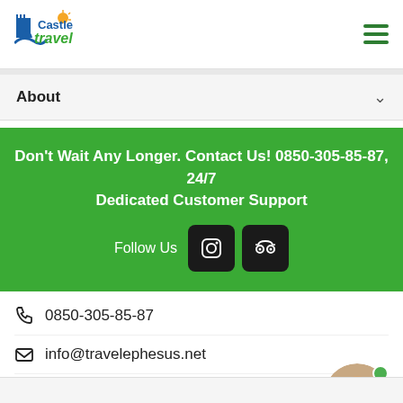[Figure (logo): Castle Travel logo with castle icon and sun graphic]
About
Don't Wait Any Longer. Contact Us! 0850-305-85-87, 24/7 Dedicated Customer Support
Follow Us
0850-305-85-87
info@travelephesus.net
İkiçeşmelik Mah. Süleyman Demirel Blv. Şe B Blok, 4/15 - Kusadasi/Turkey, 09400
[Figure (photo): Circular profile photo of a smiling bald man with beard]